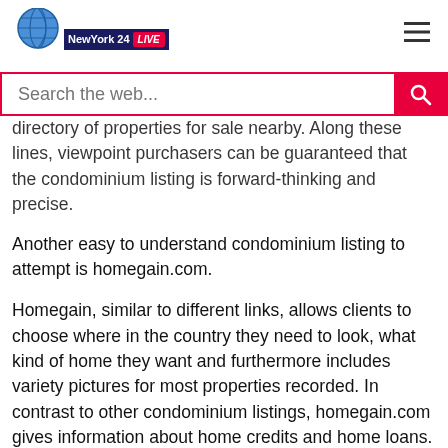NewYork 24 LIVE
directory of properties for sale nearby. Along those lines, viewpoint purchasers can be guaranteed that the condominium listing is forward-thinking and precise.
Another easy to understand condominium listing to attempt is homegain.com.
Homegain, similar to different links, allows clients to choose where in the country they need to look, what kind of home they want and furthermore includes variety pictures for most properties recorded. In contrast to other condominium listings, homegain.com gives information about home credits and home loans.
Get in Touch!
Website – https://www.readytomoveapartments.in/